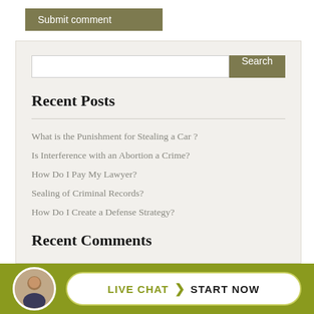Submit comment
[Figure (screenshot): Search input box with Search button]
Recent Posts
What is the Punishment for Stealing a Car ?
Is Interference with an Abortion a Crime?
How Do I Pay My Lawyer?
Sealing of Criminal Records?
How Do I Create a Defense Strategy?
Recent Comments
[Figure (infographic): Live Chat Start Now button with avatar photo in olive green bar]